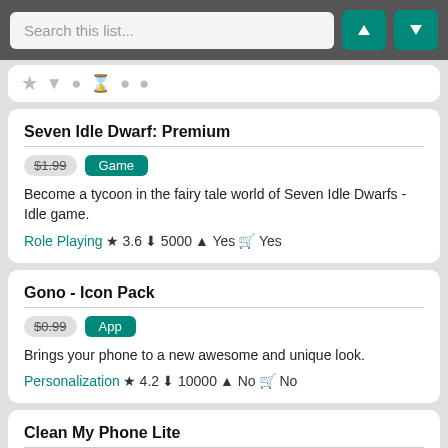[Figure (screenshot): Search bar with teal up and down navigation buttons]
Seven Idle Dwarf: Premium
$1.99 Game
Become a tycoon in the fairy tale world of Seven Idle Dwarfs - Idle game.
Role Playing ★ 3.6 ⬇ 5000 ⬆ Yes 🛒 Yes
Gono - Icon Pack
$0.99 App
Brings your phone to a new awesome and unique look.
Personalization ★ 4.2 ⬇ 10000 ⬆ No 🛒 No
Clean My Phone Lite
$2.49 App
The #1 Cleaner App For Android App